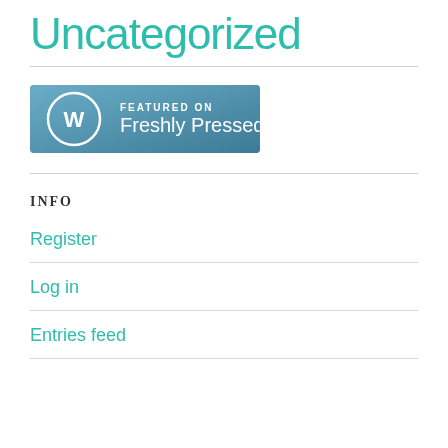Uncategorized
[Figure (logo): WordPress 'Featured on Freshly Pressed' badge — blue gradient rectangle with WordPress logo circle on left and text 'FEATURED ON Freshly Pressed' in white on right]
INFO
Register
Log in
Entries feed